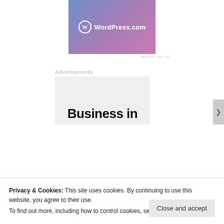[Figure (logo): WordPress.com advertisement banner with blue-to-pink gradient background, WordPress logo circle and 'WordPress.com' text in white]
REPORT THIS AD
Advertisements
[Figure (other): Gray placeholder advertisement block with 'Business in' bold text visible at bottom]
Privacy & Cookies: This site uses cookies. By continuing to use this website, you agree to their use.
To find out more, including how to control cookies, see here: Cookie Policy